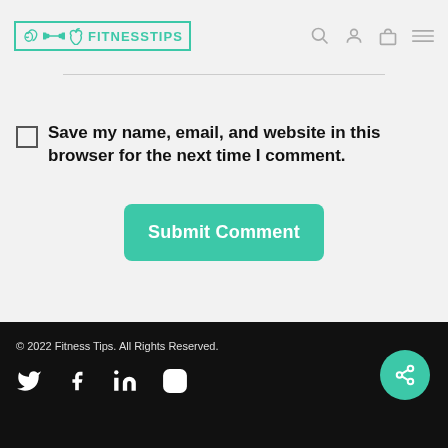Website
[Figure (logo): Fitness Tips logo with brain, dumbbell, and apple icons inside a teal border]
Save my name, email, and website in this browser for the next time I comment.
Submit Comment
© 2022 Fitness Tips. All Rights Reserved.